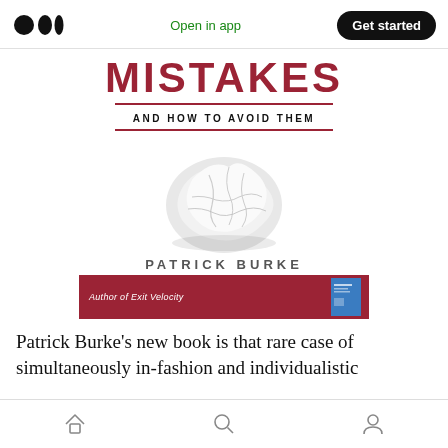Open in app | Get started
[Figure (illustration): Book cover for 'Mistakes and How to Avoid Them' by Patrick Burke. Shows crumpled paper ball on white background. Red title text, dark subtitle. Author bar in dark red with 'Author of Exit Velocity' text and small blue book image.]
Patrick Burke’s new book is that rare case of simultaneously in-fashion and individualistic
Navigation bar with home, search, and profile icons